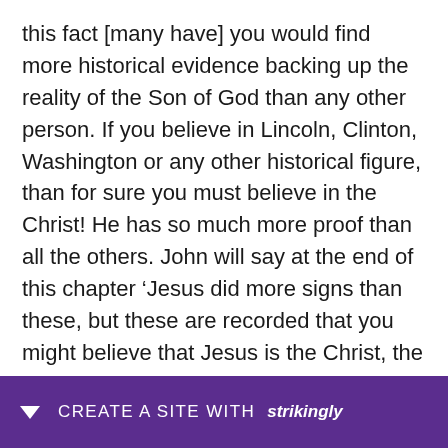this fact [many have] you would find more historical evidence backing up the reality of the Son of God than any other person. If you believe in Lincoln, Clinton, Washington or any other historical figure, than for sure you must believe in the Christ! He has so much more proof than all the others. John will say at the end of this chapter ‘Jesus did more signs than these, but these are recorded that you might believe that Jesus is the Christ, the Son of God, and that by believing you might have life thru his name’. John tells us that the miracles [signs] that Jesus did were proof of his Messiahship. I hate to have to bring this up again, but b[...] cont[...]e’s
[Figure (other): Purple banner overlay at bottom of page with a white downward arrow and text 'CREATE A SITE WITH strikingly' in white uppercase and italic bold font]